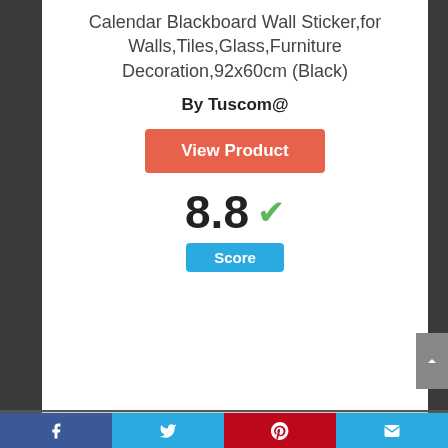Calendar Blackboard Wall Sticker,for Walls,Tiles,Glass,Furniture Decoration,92x60cm (Black)
By Tuscom@
[Figure (other): Orange 'View Product' button]
8.8 ✓ Score
[Figure (other): Circle badge with number 5]
[Figure (other): Bottom social media share bar with Facebook, Twitter, Pinterest, and Email icons]